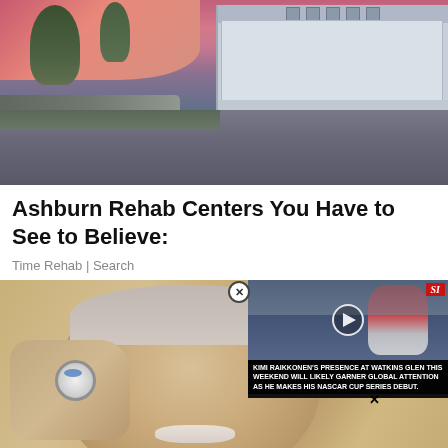[Figure (photo): Waterfront scene at sunset with a large white building/hotel on the right, trees on the left, rocky shore, and water in the foreground under a pink and purple sky]
Ashburn Rehab Centers You Have to See to Believe:
Time Rehab | Search
[Figure (photo): Elderly man with white mustache holding what appears to be a small medical device or pill close to his eye; overlaid with a video player thumbnail showing a NASCAR-related story about Kimi Raikkonen at Watkins Glen]
KIMI RAIKKONEN'S PRESENCE AT WATKINS GLEN THIS WEEKEND WILL LIKELY GARNER GLOBAL ATTENTION AS HE MAKES HIS NASCAR CUP SERIES DEBUT.